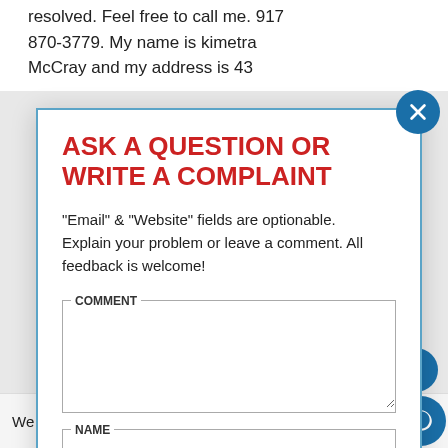resolved. Feel free to call me. 917 870-3779. My name is kimetra McCray and my address is 43
ASK A QUESTION OR WRITE A COMPLAINT
"Email" & "Website" fields are optionable. Explain your problem or leave a comment. All feedback is welcome!
COMMENT
NAME
EMAIL
We use cookies, store no data.